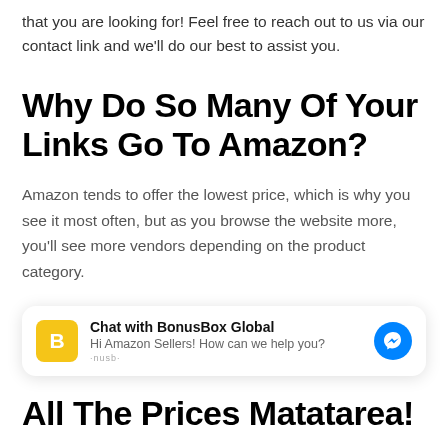that you are looking for! Feel free to reach out to us via our contact link and we'll do our best to assist you.
Why Do So Many Of Your Links Go To Amazon?
Amazon tends to offer the lowest price, which is why you see it most often, but as you browse the website more, you'll see more vendors depending on the product category.
[Figure (other): Chat widget with BonusBox Global - Hi Amazon Sellers! How can we help you? with Messenger button]
All The Prices Matatarea!